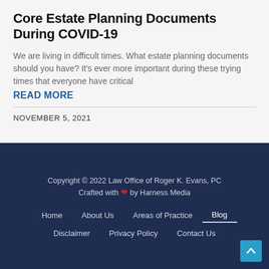Core Estate Planning Documents During COVID-19
We are living in difficult times. What estate planning documents should you have? It's ever more important during these trying times that everyone have critical
READ MORE
NOVEMBER 5, 2021
Copyright © 2022 Law Office of Roger K. Evans, PC
Crafted with ❤ by Harness Media
Home | About Us | Areas of Practice | Blog | Disclaimer | Privacy Policy | Contact Us